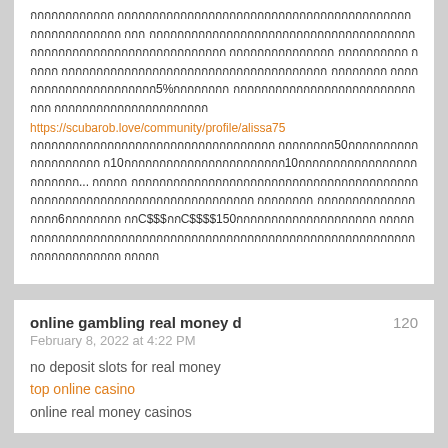Thai language text block with URL: https://scubarob.love/community/profile/alissa75 followed by more Thai text including numbers 50, 10, 6, C$150
online gambling real money d
February 8, 2022 at 4:22 PM
no deposit slots for real money
top online casino
online real money casinos